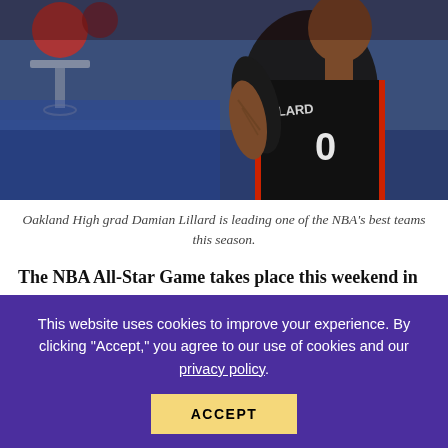[Figure (photo): Basketball player Damian Lillard wearing jersey number 0, standing on a court. Blurred arena background with hoop visible.]
Oakland High grad Damian Lillard is leading one of the NBA's best teams this season.
The NBA All-Star Game takes place this weekend in Brooklyn and New York, and until this week, there was plenty of controversy about the choices. Damian Lillard, in particular, stirred up plenty of talk about his being snubbed from the
This website uses cookies to improve your experience. By clicking "Accept," you agree to our use of cookies and our privacy policy.